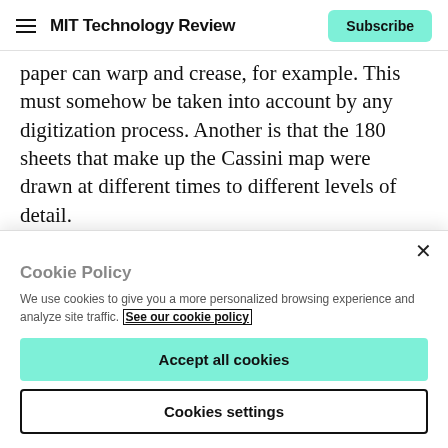MIT Technology Review | Subscribe
paper can warp and crease, for example. This must somehow be taken into account by any digitization process. Another is that the 180 sheets that make up the Cassini map were drawn at different times to different levels of detail.
Neither was this project conceived of as a road map.
Cookie Policy
We use cookies to give you a more personalized browsing experience and analyze site traffic. See our cookie policy
Accept all cookies
Cookies settings